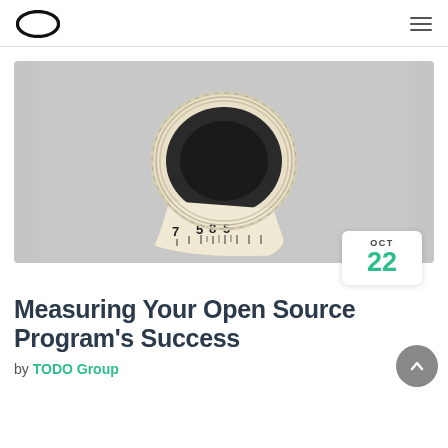Oracle logo navigation header
[Figure (photo): A rolled-up measuring tape on a grey background, showing numbers 7, 58, 5 visible on the tape.]
OCT 22
Measuring Your Open Source Program's Success
by TODO Group